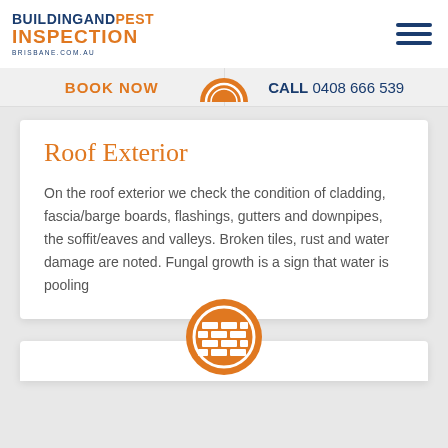[Figure (logo): Building and Pest Inspection Brisbane logo with orange and navy blue text]
[Figure (other): Hamburger menu icon with three navy blue horizontal bars]
BOOK NOW
CALL 0408 666 539
[Figure (other): Orange semicircle icon at top of first card]
Roof Exterior
On the roof exterior we check the condition of cladding, fascia/barge boards, flashings, gutters and downpipes, the soffit/eaves and valleys. Broken tiles, rust and water damage are noted. Fungal growth is a sign that water is pooling
[Figure (other): Orange circle icon with brick wall symbol for second card section]